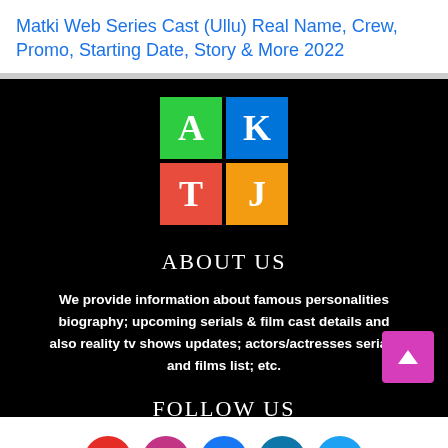Matki Web Series Cast (Ullu) Real Name, Crew, Promo, Starting Date, Story & More 2022
[Figure (logo): AKTJ logo — 2x2 grid with green A, blue K, red T, yellow J letters]
ABOUT US
We provide information about famous personalities biography; upcoming serials & film cast details and also reality tv shows updates; actors/actresses serials and films list; etc.
FOLLOW US
[Figure (infographic): Row of 5 social media icons: YouTube (red), Instagram (pink), Facebook (blue), LinkedIn (blue), Twitter (light blue)]